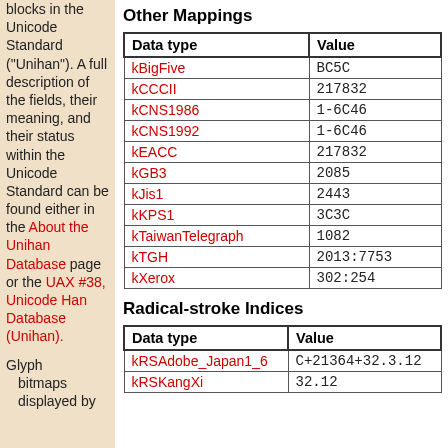blocks in the Unicode Standard ("Unihan"). A full description of the fields, their meaning, and their status within the Unicode Standard can be found either in the About the Unihan Database page or the UAX #38, Unicode Han Database (Unihan).
Other Mappings
| Data type | Value |
| --- | --- |
| kBigFive | BC5C |
| kCCCII | 217832 |
| kCNS1986 | 1-6C46 |
| kCNS1992 | 1-6C46 |
| kEACC | 217832 |
| kGB3 | 2085 |
| kJis1 | 2443 |
| kKPS1 | 3C3C |
| kTaiwanTelegraph | 1082 |
| kTGH | 2013:7753 |
| kXerox | 302:254 |
Radical-stroke Indices
| Data type | Value |
| --- | --- |
| kRSAdobe_Japan1_6 | C+21364+32.3.12 |
| kRSKangXi | 32.12 |
Glyph bitmaps displayed by